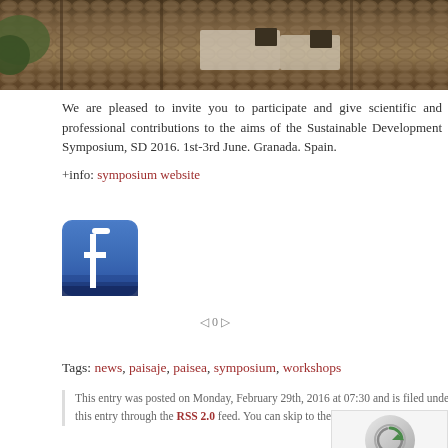[Figure (photo): Aerial/overhead view of traditional rooftops with clay/terracotta tile roofing, likely in Granada, Spain]
We are pleased to invite you to participate and give scientific and professional contributions to the aims of the Sustainable Development Symposium, SD 2016. 1st-3rd June. Granada. Spain.
+info: symposium website
[Figure (logo): Facebook logo icon - blue square with white letter f]
0
Tags: news, paisaje, paisea, symposium, workshops
This entry was posted on Monday, February 29th, 2016 at 07:30 and is filed under conference, news, paisea, without category, workshop and courses. You can follow any responses to this entry through the RSS 2.0 feed. You can skip to the end and leave a response. Pinging is currently not allowed.